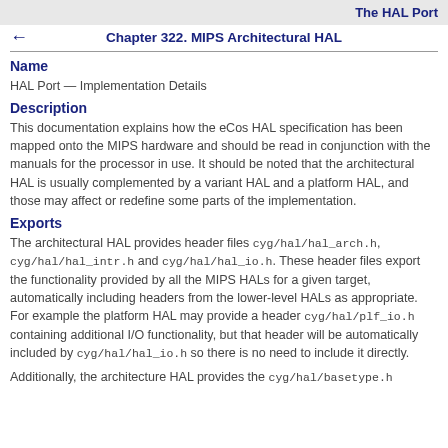The HAL Port
Chapter 322. MIPS Architectural HAL
Name
HAL Port — Implementation Details
Description
This documentation explains how the eCos HAL specification has been mapped onto the MIPS hardware and should be read in conjunction with the manuals for the processor in use. It should be noted that the architectural HAL is usually complemented by a variant HAL and a platform HAL, and those may affect or redefine some parts of the implementation.
Exports
The architectural HAL provides header files cyg/hal/hal_arch.h, cyg/hal/hal_intr.h and cyg/hal/hal_io.h. These header files export the functionality provided by all the MIPS HALs for a given target, automatically including headers from the lower-level HALs as appropriate. For example the platform HAL may provide a header cyg/hal/plf_io.h containing additional I/O functionality, but that header will be automatically included by cyg/hal/hal_io.h so there is no need to include it directly.
Additionally, the architecture HAL provides the cyg/hal/basetype.h